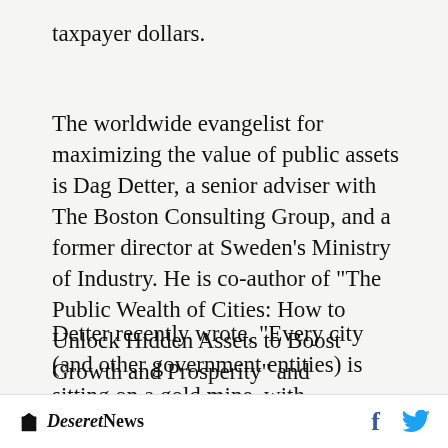taxpayer dollars.
The worldwide evangelist for maximizing the value of public assets is Dag Detter, a senior adviser with The Boston Consulting Group, and a former director at Sweden’s Ministry of Industry. He is co-author of "The Public Wealth of Cities: How to Unlock Hidden Assets to Boost Growth and Prosperity" and frequently writes and speaks on the topic.
Detter recently wrote, “Every city (and other government entities) is sitting on a gold mine, with commercial assets worth the equivalent of at
Deseret News